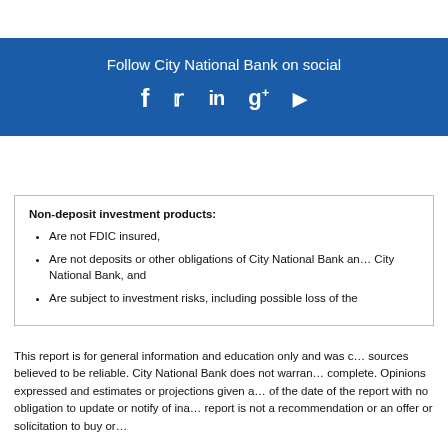[Figure (infographic): Blue banner with text 'Follow City National Bank on social' and social media icons for Facebook, Twitter, LinkedIn, Google+, and YouTube]
Non-deposit investment products:
Are not FDIC insured,
Are not deposits or other obligations of City National Bank and City National Bank, and
Are subject to investment risks, including possible loss of the
This report is for general information and education only and was compiled from sources believed to be reliable. City National Bank does not warrant it is complete. Opinions expressed and estimates or projections given are as of the date of the report with no obligation to update or notify of inaccuracy. report is not a recommendation or an offer or solicitation to buy or